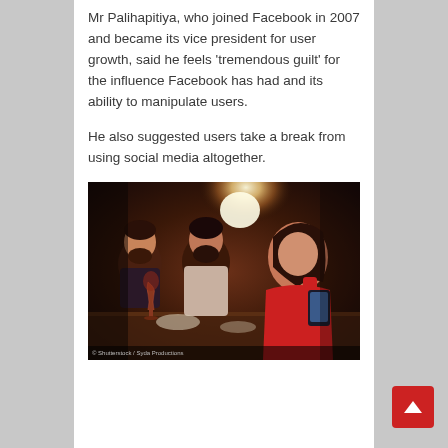Mr Palihapitiya, who joined Facebook in 2007 and became its vice president for user growth, said he feels 'tremendous guilt' for the influence Facebook has had and its ability to manipulate users.
He also suggested users take a break from using social media altogether.
[Figure (photo): A woman in a red top looking at her phone at a restaurant table while two men sit beside her, one smiling. Warm restaurant lighting with a bright light flare in the background.]
© Shutterstock / Syda Productions